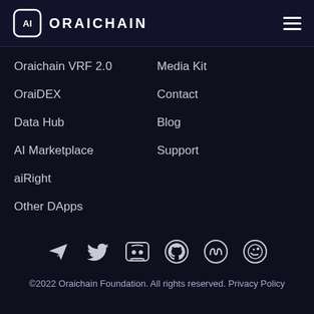ORAICHAIN
Oraichain VRF 2.0
Media Kit
OraiDEX
Contact
Data Hub
Blog
AI Marketplace
Support
aiRight
Other DApps
[Figure (other): Social media icons row: Telegram, Twitter, Discord, GitHub, CoinMarketCap, CoinGecko]
©2022 Oraichain Foundation. All rights reserved. Privacy Policy